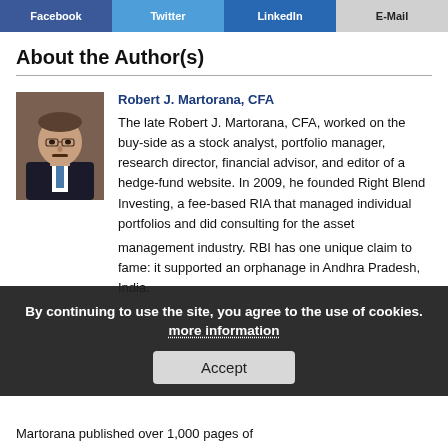Facebook | Twitter | LinkedIn | E-Mail
About the Author(s)
[Figure (photo): Headshot photo of Robert J. Martorana, CFA, a man in a dark suit with a blue tie, against a brick background.]
Robert J. Martorana, CFA
The late Robert J. Martorana, CFA, worked on the buy-side as a stock analyst, portfolio manager, research director, financial advisor, and editor of a hedge-fund website. In 2009, he founded Right Blend Investing, a fee-based RIA that managed individual portfolios and did consulting for the asset management industry. RBI has one unique claim to fame: it supported an orphanage in Andhra Pradesh, India. Martorana published over 1,000 pages of
By continuing to use the site, you agree to the use of cookies. more information
Accept